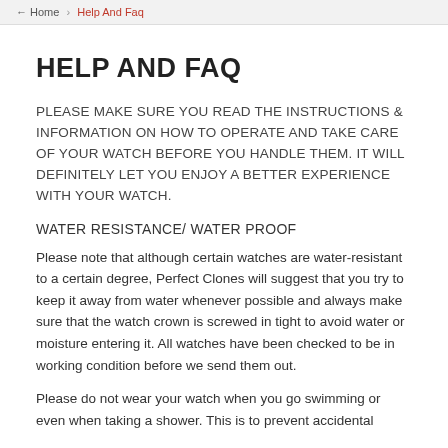Home › Help And Faq
HELP AND FAQ
PLEASE MAKE SURE YOU READ THE INSTRUCTIONS & INFORMATION ON HOW TO OPERATE AND TAKE CARE OF YOUR WATCH BEFORE YOU HANDLE THEM. IT WILL DEFINITELY LET YOU ENJOY A BETTER EXPERIENCE WITH YOUR WATCH.
WATER RESISTANCE/ WATER PROOF
Please note that although certain watches are water-resistant to a certain degree, Perfect Clones will suggest that you try to keep it away from water whenever possible and always make sure that the watch crown is screwed in tight to avoid water or moisture entering it. All watches have been checked to be in working condition before we send them out.
Please do not wear your watch when you go swimming or even when taking a shower. This is to prevent accidental